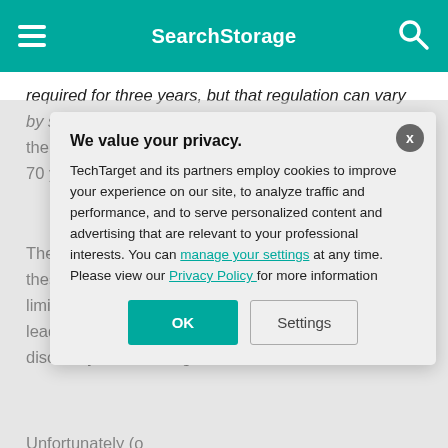SearchStorage
required for three years, but that regulation can vary by state. Medical data might be retained for the life of the patient plus seven years, nuclear power data for 70 years and so on.
There's a simple answer to the question of what all these time periods have in common: In most cases, the statute of limitations (public or private) to bring a suit... Failing to produce... can lead to civil... On the flip side, mandated periods... discovery and ne... organization's le...
Unfortunately (o...
We value your privacy.
TechTarget and its partners employ cookies to improve your experience on our site, to analyze traffic and performance, and to serve personalized content and advertising that are relevant to your professional interests. You can manage your settings at any time. Please view our Privacy Policy for more information